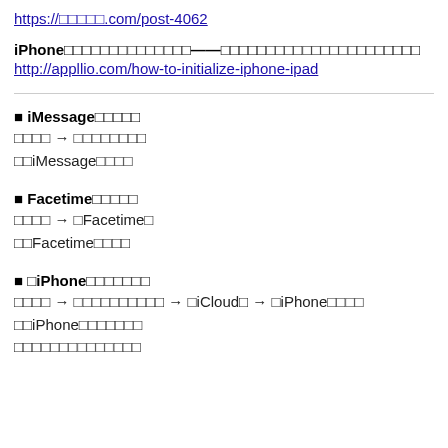https://□□□□□.com/post-4062
iPhone□□□□□□□□□□□□□□——□□□□□□□□□□□□□□□□□□□□□□
http://appllio.com/how-to-initialize-iphone-ipad
■ iMessage□□□□□
□□□□ → □□□□□□□□
□□iMessage□□□□
■ Facetime□□□□□
□□□□ → □Facetime□
□□Facetime□□□□
■ □iPhone□□□□□□□
□□□□ → □□□□□□□□□□ → □iCloud□ → □iPhone□□□□
□□iPhone□□□□□□□
□□□□□□□□□□□□□□